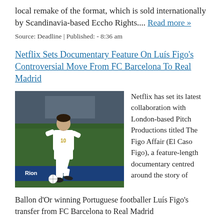local remake of the format, which is sold internationally by Scandinavia-based Eccho Rights.... Read more »
Source: Deadline | Published: - 8:36 am
Netflix Sets Documentary Feature On Luís Figo's Controversial Move From FC Barcelona To Real Madrid
[Figure (photo): A footballer in a white Real Madrid kit dribbling a ball on a pitch, with stadium background]
Netflix has set its latest collaboration with London-based Pitch Productions titled The Figo Affair (El Caso Figo), a feature-length documentary centred around the story of Ballon d'Or winning Portuguese footballer Luís Figo's transfer from FC Barcelona to Real Madrid